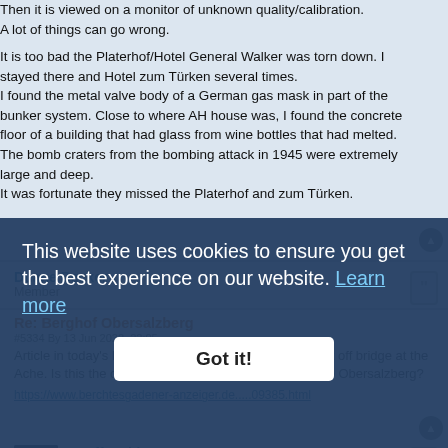Then it is viewed on a monitor of unknown quality/calibration.
A lot of things can go wrong.

It is too bad the Platerhof/Hotel General Walker was torn down. I stayed there and Hotel zum Türken several times.
I found the metal valve body of a German gas mask in part of the bunker system. Close to where AH house was, I found the concrete floor of a building that had glass from wine bottles that had melted.
The bomb craters from the bombing attack in 1945 were extremely large and deep.
It was fortunate they missed the Platerhof and zum Türken.
Duane Becker
Member
Re: Berghof Obersalzberg
#5334 By 13 Jun 2022, 22:05
Article in today's Berchtesgadener Anzeiger. Truck went off bridge at the Ache. Is this the old guard snack location for the road to Obersalzberg?
https://www.berchtesgadener-anzeiger.de.....09385.html
Geoff Walden
Member
This website uses cookies to ensure you get the best experience on our website. Learn more
Got it!